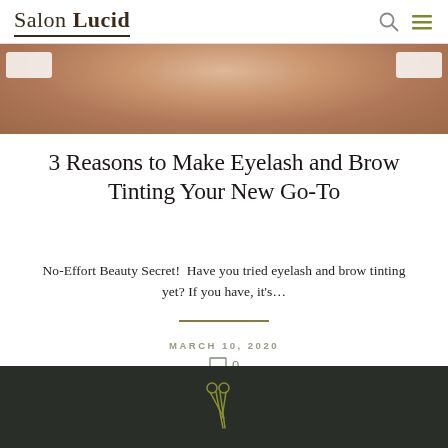Salon Lucid
[Figure (photo): Close-up photo of a person's face/skin, used as hero banner image for the blog post]
3 Reasons to Make Eyelash and Brow Tinting Your New Go-To
No-Effort Beauty Secret!  Have you tried eyelash and brow tinting yet? If you have, it's...
MARCH 10, 2020
0
[Figure (illustration): Scissors icon in olive/gold color on dark background footer]